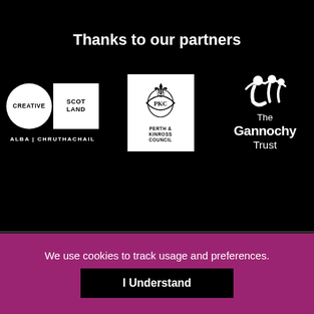VisitScotland, the National Tourist Dir...
Thanks to our partners
[Figure (logo): Creative Scotland logo — circle with CREATIVE text and square with SCOTLAND text, below: ALBA | CHRUTHACHAIL]
[Figure (logo): Perth & Kinross Council logo with heraldic crest]
[Figure (logo): The Gannochy Trust logo with stylized figures]
[Figure (logo): Social media icons row: LinkedIn, Facebook, Twitter, Instagram, YouTube]
We use cookies to track usage and preferences.
I Understand